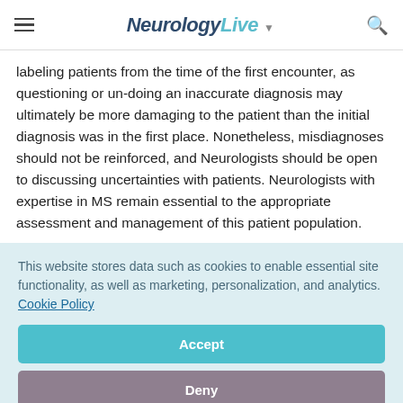NeurologyLive
labeling patients from the time of the first encounter, as questioning or un-doing an inaccurate diagnosis may ultimately be more damaging to the patient than the initial diagnosis was in the first place. Nonetheless, misdiagnoses should not be reinforced, and Neurologists should be open to discussing uncertainties with patients. Neurologists with expertise in MS remain essential to the appropriate assessment and management of this patient population.
This website stores data such as cookies to enable essential site functionality, as well as marketing, personalization, and analytics. Cookie Policy
Accept
Deny